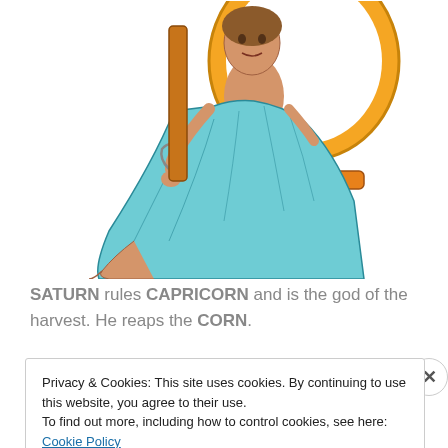[Figure (illustration): Comic-style illustration of Saturn/a robed figure seated on an ornate orange chair with gold details, wearing a light blue robe, feet bare, purple cushion on footstool.]
SATURN rules CAPRICORN and is the god of the harvest. He reaps the CORN.
Privacy & Cookies: This site uses cookies. By continuing to use this website, you agree to their use.
To find out more, including how to control cookies, see here: Cookie Policy
Close and accept